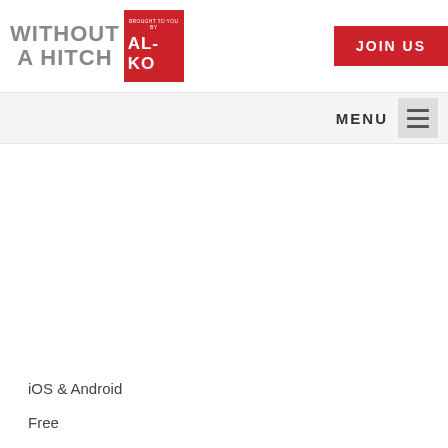WITHOUT A HITCH — Brought to you by AL-KO
JOIN US
MENU
iOS & Android
Free